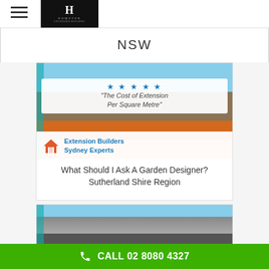Hometek – navigation header with hamburger menu and logo
NSW
[Figure (photo): Extension builders article card showing a brick house with covered patio, star rating overlay and text 'The Cost of Extension Per Square Metre', with Extension Builders Sydney Experts badge]
What Should I Ask A Garden Designer? Sutherland Shire Region
[Figure (photo): Partial view of a second article card showing a rooftop/house exterior]
CALL 02 8080 4327